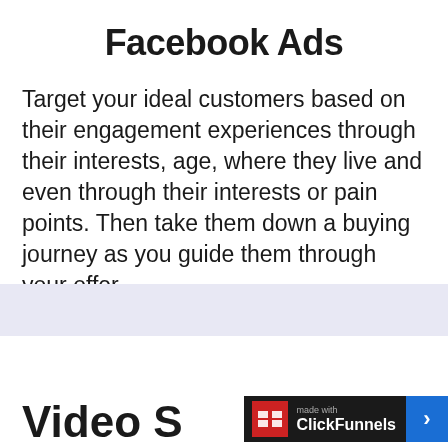Facebook Ads
Target your ideal customers based on their engagement experiences through their interests, age, where they live and even through their interests or pain points. Then take them down a buying journey as you guide them through your offer.
GET THIS SERVICE
[Figure (logo): ClickFunnels badge - made with ClickFunnels logo with arrow]